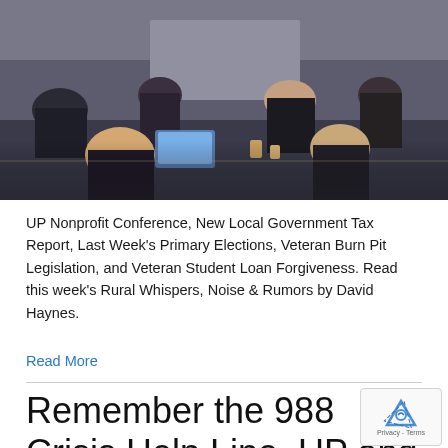[Figure (photo): Conference room scene with attendees seated at tables from behind, people working on laptops and tablets at a professional conference or meeting event.]
UP Nonprofit Conference, New Local Government Tax Report, Last Week's Primary Elections, Veteran Burn Pit Legislation, and Veteran Student Loan Forgiveness. Read this week's Rural Whispers, Noise & Rumors by David Haynes.
Read More
Remember the 988 Crisis Help Line, UP and Statewide Primary Day, New K-12 Pare...